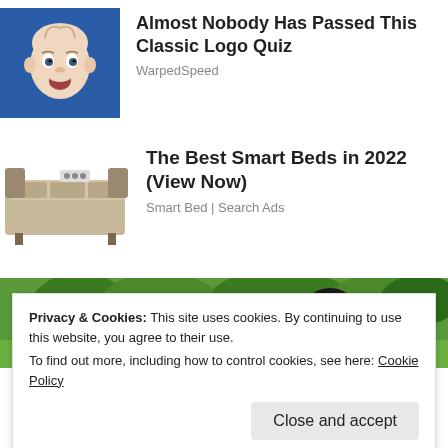[Figure (illustration): Baby face on blue circular background, surprised expression]
Almost Nobody Has Passed This Classic Logo Quiz
WarpedSpeed
[Figure (photo): Smart adjustable bed with multiple sections and massage features]
The Best Smart Beds in 2022 (View Now)
Smart Bed | Search Ads
[Figure (photo): Outdoor scene with two people, green trees and grass in background]
Privacy & Cookies: This site uses cookies. By continuing to use this website, you agree to their use.
To find out more, including how to control cookies, see here: Cookie Policy
Close and accept